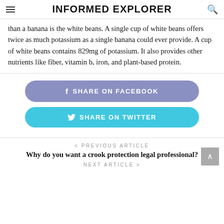INFORMED EXPLORER
than a banana is the white beans. A single cup of white beans offers twice as much potassium as a single banana could ever provide. A cup of white beans contains 829mg of potassium. It also provides other nutrients like fiber, vitamin b, iron, and plant-based protein.
SHARE ON FACEBOOK
SHARE ON TWITTER
< PREVIOUS ARTICLE
Why do you want a crook protection legal professional?
NEXT ARTICLE >